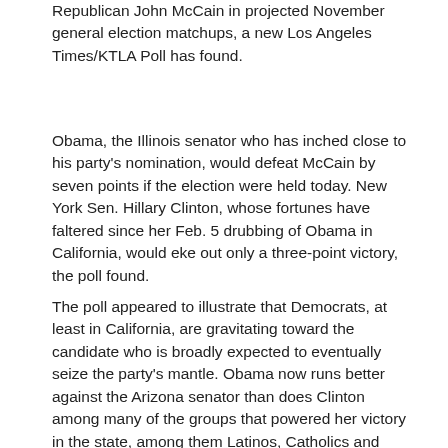Republican John McCain in projected November general election matchups, a new Los Angeles Times/KTLA Poll has found.
Obama, the Illinois senator who has inched close to his party's nomination, would defeat McCain by seven points if the election were held today. New York Sen. Hillary Clinton, whose fortunes have faltered since her Feb. 5 drubbing of Obama in California, would eke out only a three-point victory, the poll found.
The poll appeared to illustrate that Democrats, at least in California, are gravitating toward the candidate who is broadly expected to eventually seize the party's mantle. Obama now runs better against the Arizona senator than does Clinton among many of the groups that powered her victory in the state, among them Latinos, Catholics and those without college degrees.
Although exit polls in recent primaries elsewhere